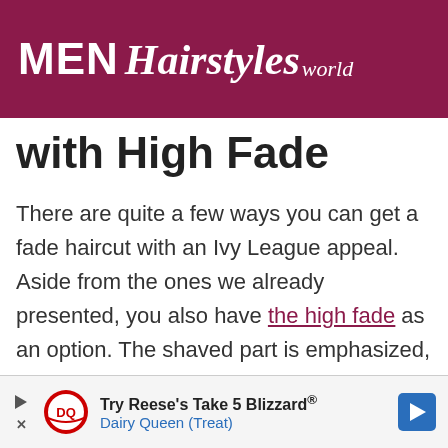MEN Hairstyles world
with High Fade
There are quite a few ways you can get a fade haircut with an Ivy League appeal. Aside from the ones we already presented, you also have the high fade as an option. The shaved part is emphasized, covering a larger portion than the longer top.
[Figure (other): Dairy Queen advertisement banner: Try Reese's Take 5 Blizzard® Dairy Queen (Treat)]